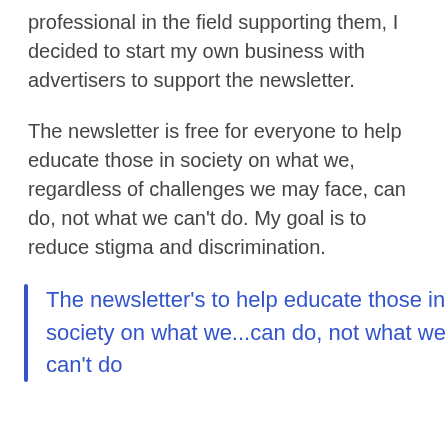professional in the field supporting them, I decided to start my own business with advertisers to support the newsletter.
The newsletter is free for everyone to help educate those in society on what we, regardless of challenges we may face, can do, not what we can't do. My goal is to reduce stigma and discrimination.
The newsletter's to help educate those in society on what we...can do, not what we can't do